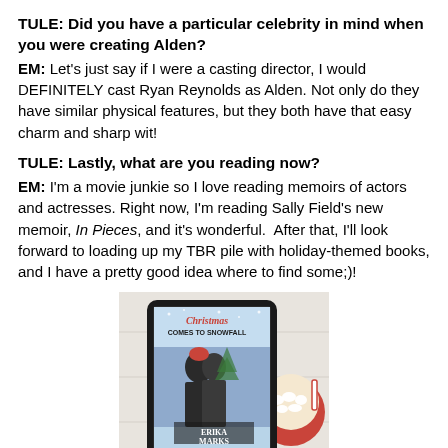TULE: Did you have a particular celebrity in mind when you were creating Alden?
EM: Let’s just say if I were a casting director, I would DEFINITELY cast Ryan Reynolds as Alden. Not only do they have similar physical features, but they both have that easy charm and sharp wit!
TULE: Lastly, what are you reading now?
EM: I’m a movie junkie so I love reading memoirs of actors and actresses. Right now, I’m reading Sally Field’s new memoir, In Pieces, and it’s wonderful. After that, I’ll look forward to loading up my TBR pile with holiday-themed books, and I have a pretty good idea where to find some;)!
[Figure (photo): A tablet device displaying the book cover of 'Christmas Comes to Snowfall' by Erika Marks, shown on a light wooden background with a mug of hot cocoa with marshmallows visible to the right.]